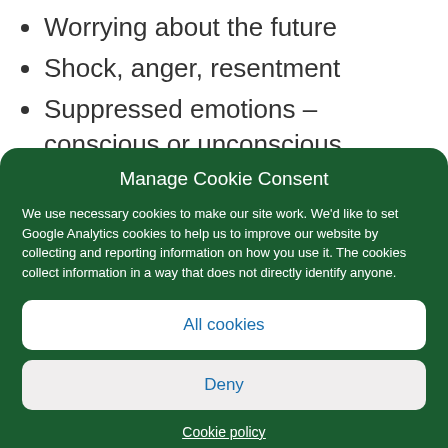Worrying about the future
Shock, anger, resentment
Suppressed emotions – conscious or unconscious
Financial worries
Manage Cookie Consent
We use necessary cookies to make our site work. We'd like to set Google Analytics cookies to help us to improve our website by collecting and reporting information on how you use it. The cookies collect information in a way that does not directly identify anyone.
All cookies
Deny
Cookie policy